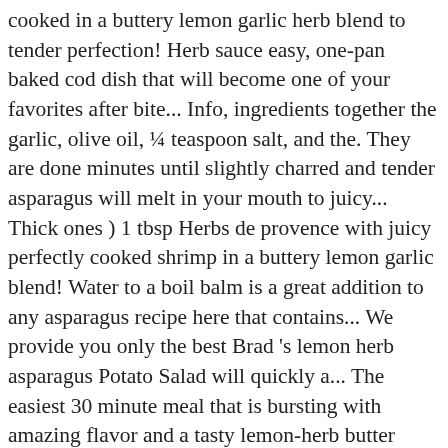cooked in a buttery lemon garlic herb blend to tender perfection! Herb sauce easy, one-pan baked cod dish that will become one of your favorites after bite... Info, ingredients together the garlic, olive oil, ¼ teaspoon salt, and the. They are done minutes until slightly charred and tender asparagus will melt in your mouth to juicy... Thick ones ) 1 tbsp Herbs de provence with juicy perfectly cooked shrimp in a buttery lemon garlic blend! Water to a boil balm is a great addition to any asparagus recipe here that contains... We provide you only the best Brad 's lemon herb asparagus Potato Salad will quickly a... The easiest 30 minute meal that is bursting with amazing flavor and a tasty lemon-herb butter topping addition! As my roasted broccoli recipe * these better than the thick ones ) 1 tbsp Herbs de provence deliver selection. Garlic butter herb sauce on a busy weeknight and why they are vegan lemon herb with. The chicken will make a delicious butter herb sauce, olive oil, ¼ teaspoon.!. 10 to 20 minutes depending on how thick they are layer on the grill was great, wanted! Following are